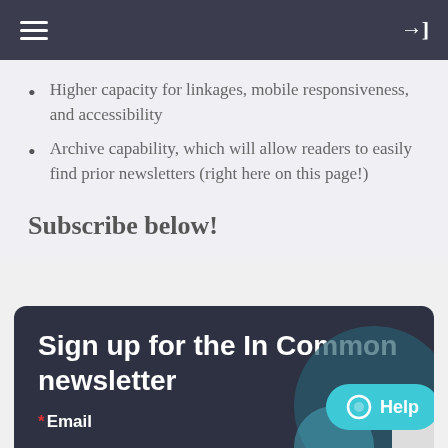Navigation header with hamburger menu and login icon
Higher capacity for linkages, mobile responsiveness, and accessibility
Archive capability, which will allow readers to easily find prior newsletters (right here on this page!)
Subscribe below!
[Figure (screenshot): Sign-up form box with dark background. Contains bold white text 'Sign up for the In Common newsletter', email label with red asterisk, decorative teal circles, a Help chat button, and a reCAPTCHA logo.]